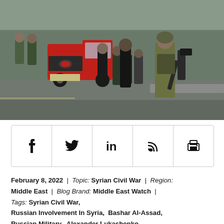[Figure (photo): Armed soldiers in camouflage uniforms standing on a road, with a red Toyota pickup truck and a group of people in dark clothing in the background. Military/conflict scene.]
February 8, 2022  |  Topic: Syrian Civil War  |  Region: Middle East  |  Blog Brand: Middle East Watch  |  Tags: Syrian Civil War, Russian Involvement In Syria,  Bashar Al-Assad, Russian Military,  Alexander Lukashenko